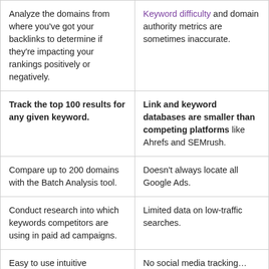| Analyze the domains from where you've got your backlinks to determine if they're impacting your rankings positively or negatively. | Keyword difficulty and domain authority metrics are sometimes inaccurate. |
| Track the top 100 results for any given keyword. | Link and keyword databases are smaller than competing platforms like Ahrefs and SEMrush. |
| Compare up to 200 domains with the Batch Analysis tool. | Doesn't always locate all Google Ads. |
| Conduct research into which keywords competitors are using in paid ad campaigns. | Limited data on low-traffic searches. |
| Easy to use intuitive dashboard without… | No social media tracking… |